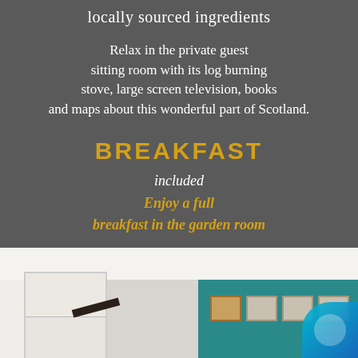locally sourced ingredients
Relax in the private guest sitting room with its log burning stove, large screen television, books and maps about this wonderful part of Scotland.
BREAKFAST
included
Enjoy a full breakfast in the garden room
Evening meals & picnic lunch (pre-booking essential)
[Figure (photo): Interior room photo showing white cabinetry on the left and a teal accent wall with framed pictures on the right]